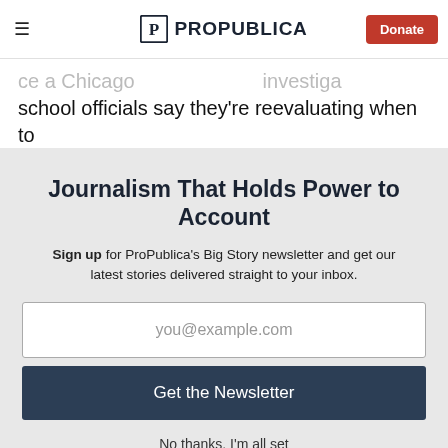ProPublica — Donate
school officials say they're reevaluating when to involve law enforcement in student discipline.
Journalism That Holds Power to Account
Sign up for ProPublica's Big Story newsletter and get our latest stories delivered straight to your inbox.
you@example.com
Get the Newsletter
No thanks, I'm all set
This site is protected by reCAPTCHA and the Google Privacy Policy and Terms of Service apply.